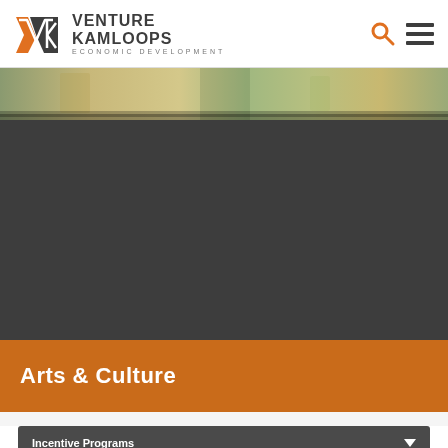[Figure (logo): Venture Kamloops Economic Development logo with orange VK monogram and hamburger menu / search icon]
[Figure (photo): Aerial/landscape photo strip showing natural scenery]
Arts & Culture
Incentive Programs
Unique Advantages for Business